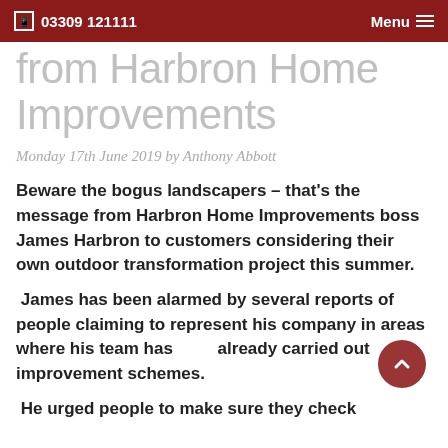03309 121111  Menu
from Harbron Home Improvements
Monday 17th June 2019 by Anthony Abbott
Beware the bogus landscapers – that's the message from Harbron Home Improvements boss James Harbron to customers considering their own outdoor transformation project this summer.
James has been alarmed by several reports of people claiming to represent his company in areas where his team has already carried out improvement schemes.
He urged people to make sure they check